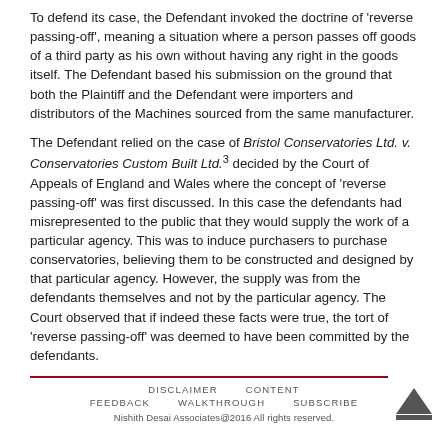To defend its case, the Defendant invoked the doctrine of 'reverse passing-off', meaning a situation where a person passes off goods of a third party as his own without having any right in the goods itself. The Defendant based his submission on the ground that both the Plaintiff and the Defendant were importers and distributors of the Machines sourced from the same manufacturer.
The Defendant relied on the case of Bristol Conservatories Ltd. v. Conservatories Custom Built Ltd.³ decided by the Court of Appeals of England and Wales where the concept of 'reverse passing-off' was first discussed. In this case the defendants had misrepresented to the public that they would supply the work of a particular agency. This was to induce purchasers to purchase conservatories, believing them to be constructed and designed by that particular agency. However, the supply was from the defendants themselves and not by the particular agency. The Court observed that if indeed these facts were true, the tort of 'reverse passing-off' was deemed to have been committed by the defendants.
The Defendant further relied on the case of John Robert Powers School Inc. v. Denyse Bernadette Tessensohn⁴ decided by the Court of Appeal in the Republic of Singapore, wherein the judgment specified that inverse passing off occurs when one trader represents the goods of another trade as his
DISCLAIMER   CONTENT   FEEDBACK   WALKTHROUGH   SUBSCRIBE
Nishith Desai Associates@2016 All rights reserved.